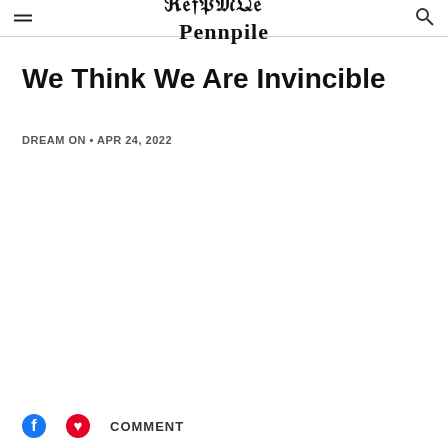Pennpile
We Think We Are Invincible
DREAM ON • APR 24, 2022
COMMENT